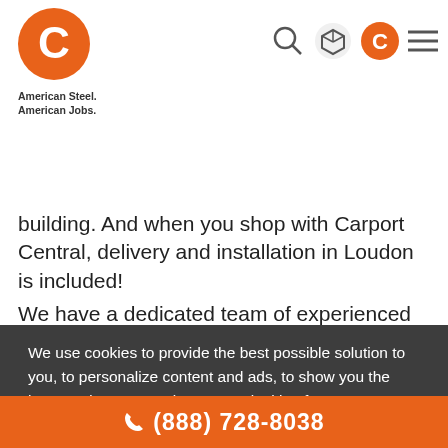[Figure (logo): Carport Central logo: orange circle with white stylized C letter, with tagline 'American Steel. American Jobs.' below]
building. And when you shop with Carport Central, delivery and installation in Loudon is included!
We have a dedicated team of experienced building specialists available to walk you through every step. Carport Central is the top volume online carport dealer in America, but we didn't reach this level of business by
We use cookies to provide the best possible solution to you, to personalize content and ads, to show you the best products or services you're looking for. For more details visit Privacy Policy.
OK, THANKS
Carport Central offers a vast range of metal carports and
(888) 728-8038